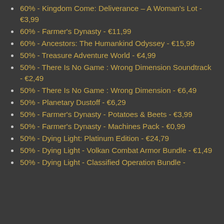60% - Kingdom Come: Deliverance – A Woman's Lot - €3,99
60% - Farmer's Dynasty - €11,99
60% - Ancestors: The Humankind Odyssey - €15,99
50% - Treasure Adventure World - €4,99
50% - There Is No Game : Wrong Dimension Soundtrack - €2,49
50% - There Is No Game : Wrong Dimension - €6,49
50% - Planetary Dustoff - €6,29
50% - Farmer's Dynasty - Potatoes & Beets - €3,99
50% - Farmer's Dynasty - Machines Pack - €0,99
50% - Dying Light: Platinum Edition - €24,79
50% - Dying Light - Volkan Combat Armor Bundle - €1,49
50% - Dying Light - Classified Operation Bundle -